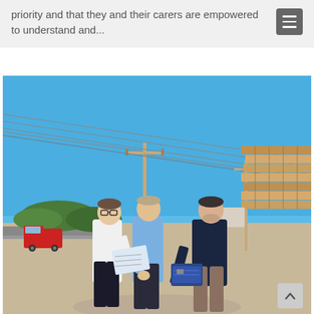priority and that they and their carers are empowered to understand and...
[Figure (photo): Three men standing outdoors on a gravel area near a road. Two men in white/light blue shirts face each other looking at documents; a third man in a dark navy shirt holds a folder. In the background there are power lines, a red truck, trees, and stacked wooden pallets/crates on the right side. Clear blue sky.]